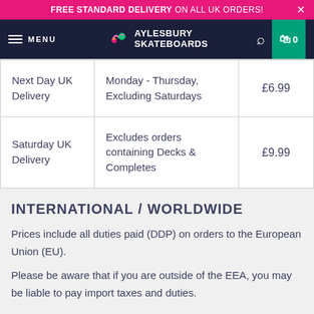FREE STANDARD DELIVERY ON ALL UK ORDERS!
[Figure (logo): Aylesbury Skateboards logo with navigation bar]
|  |  |  |
| --- | --- | --- |
| Next Day UK Delivery | Monday - Thursday, Excluding Saturdays | £6.99 |
| Saturday UK Delivery | Excludes orders containing Decks & Completes | £9.99 |
INTERNATIONAL / WORLDWIDE
Prices include all duties paid (DDP) on orders to the European Union (EU).
Please be aware that if you are outside of the EEA, you may be liable to pay import taxes and duties.